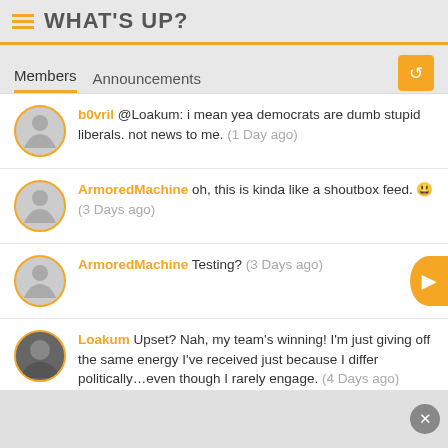WHAT'S UP?
Members  Announcements
b0vril @Loakum: i mean yea democrats are dumb stupid liberals. not news to me. (1 Day ago)
ArmoredMachine oh, this is kinda like a shoutbox feed. (3 Days ago)
ArmoredMachine Testing? (3 Days ago)
Loakum Upset? Nah, my team's winning! I'm just giving off the same energy I've received just because I differ politically...even though I rarely engage. (4 Days ago)
MrWhite Someone's upset. (5 Days ago)
Loakum Dumb, Stupid, Liberal, Democrat. (1 Week